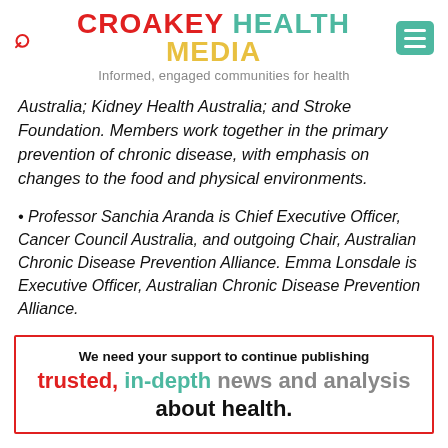CROAKEY HEALTH MEDIA — Informed, engaged communities for health
Australia; Kidney Health Australia; and Stroke Foundation. Members work together in the primary prevention of chronic disease, with emphasis on changes to the food and physical environments.
• Professor Sanchia Aranda is Chief Executive Officer, Cancer Council Australia, and outgoing Chair, Australian Chronic Disease Prevention Alliance. Emma Lonsdale is Executive Officer, Australian Chronic Disease Prevention Alliance.
We need your support to continue publishing trusted, in-depth news and analysis about health.